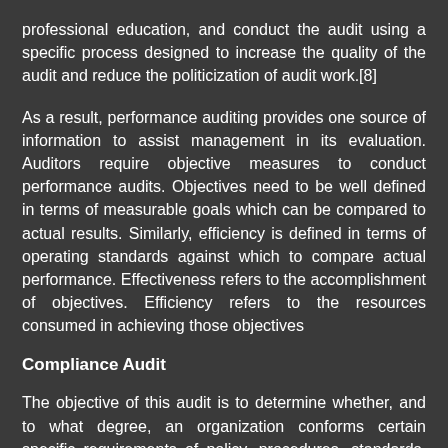professional education, and conduct the audit using a specific process designed to increase the quality of the audit and reduce the politicization of audit work.[8]
As a result, performance auditing provides one source of information to assist management in its evaluation. Auditors require objective measures to conduct performance audits. Objectives need to be well defined in terms of measurable goals which can be compared to actual results. Similarly, efficiency is defined in terms of operating standards against which to compare actual performance. Effectiveness refers to the accomplishment of objectives. Efficiency refers to the resources consumed in achieving those objectives
Compliance Audit
The objective of this audit is to determine whether, and to what degree, an organization conforms certain specific requirements of policy, procedures, standards, or laws and